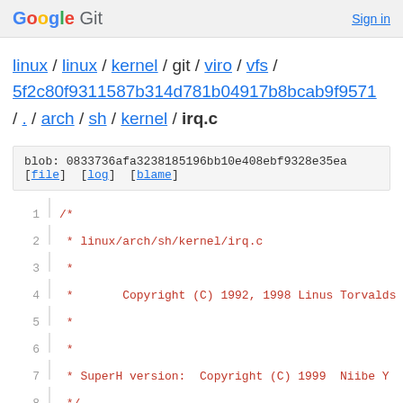Google Git  Sign in
linux / linux / kernel / git / viro / vfs / 5f2c80f9311587b314d781b04917b8bcab9f9571 / . / arch / sh / kernel / irq.c
blob: 0833736afa32381​85196bb10e408ebf9328e35ea [file] [log] [blame]
1  /*
2   * linux/arch/sh/kernel/irq.c
3   *
4   *       Copyright (C) 1992, 1998 Linus Torvalds
5   *
6   *
7   * SuperH version:  Copyright (C) 1999  Niibe Y...
8   */
9  #include <linux/irq.h>
10 #include <linux/interrupt.h>